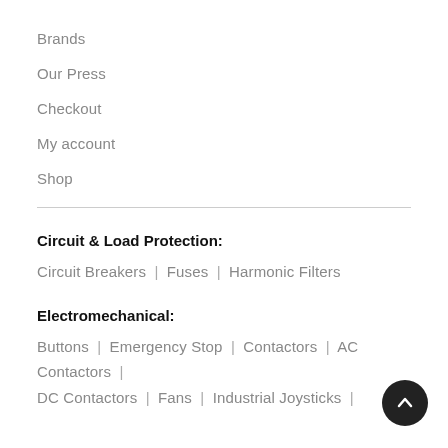Brands
Our Press
Checkout
My account
Shop
Circuit & Load Protection:
Circuit Breakers  |  Fuses  |  Harmonic Filters
Electromechanical:
Buttons  |  Emergency Stop  |  Contactors  |  AC Contactors  |  DC Contactors  |  Fans  |  Industrial Joysticks  |